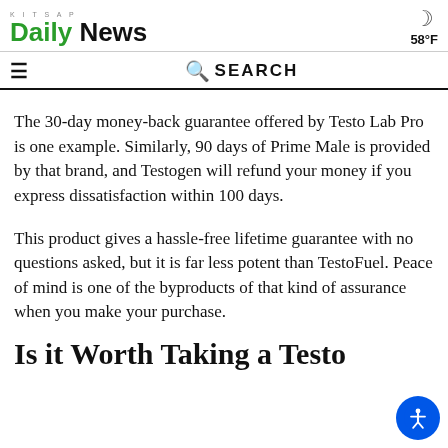KITSAP Daily News  58°F
≡  🔍 SEARCH
The 30-day money-back guarantee offered by Testo Lab Pro is one example. Similarly, 90 days of Prime Male is provided by that brand, and Testogen will refund your money if you express dissatisfaction within 100 days.
This product gives a hassle-free lifetime guarantee with no questions asked, but it is far less potent than TestoFuel. Peace of mind is one of the byproducts of that kind of assurance when you make your purchase.
Is it Worth Taking a Testo